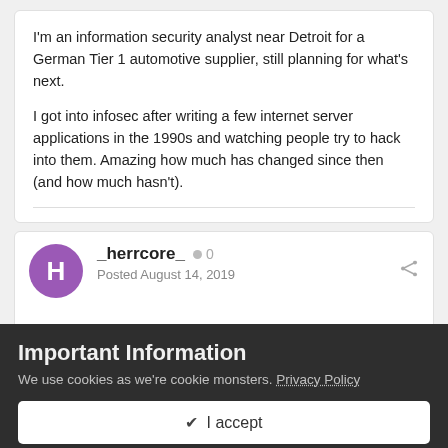I'm an information security analyst near Detroit for a German Tier 1 automotive supplier, still planning for what's next.
I got into infosec after writing a few internet server applications in the 1990s and watching people try to hack into them. Amazing how much has changed since then (and how much hasn't).
_herrcore_  0
Posted August 14, 2019
...
Edited August 14, 2019 by sergei frankoff
lol this is publicly indexed
Important Information
We use cookies as we're cookie monsters. Privacy Policy
✔ I accept